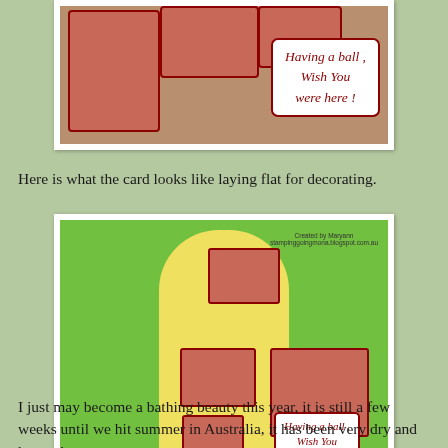[Figure (photo): Photo of a handmade greeting card showing vintage red-stamped images with a label reading 'Having a ball, Wish You were here!']
Here is what the card looks like laying flat for decorating.
[Figure (photo): Photo of the same card laying flat on a green surface showing its full layout with multiple vintage red-stamped images and 'Having a ball, Wish You were here!' text label, with watermark 'Created by Maryann stampinggoingmona.blogspot.com.au']
I just may become a bathing beauty this year, it is still a few weeks until we hit summer in Australia, it has been very dry and hot and